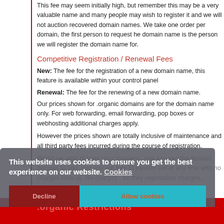This fee may seem initially high, but remember this may be a very valuable name and many people may wish to register it and we will not auction recovered domain names. We take one order per domain, the first person to request he domain name is the person we will register the domain name for.
Competitive Registration / Renewal Fees
New: The fee for the registration of a new domain name, this feature is available within your control panel
Renewal: The fee for the renewing of a new domain name.
Our prices shown for .organic domains are for the domain name only. For web forwarding, email forwarding, pop boxes or webhosting additional charges apply.
However the prices shown are totally inclusive of maintenance and all third party fees incurred during the course of registration.
Whilst we wish to keep your business, rest assured the domain belongs to you, and you are free to transfer out at any time with no charges from us. No charges - be they registration charges, hidden or otherwise - will be added.
.organic Restrictions
.organic domains No Restrictions